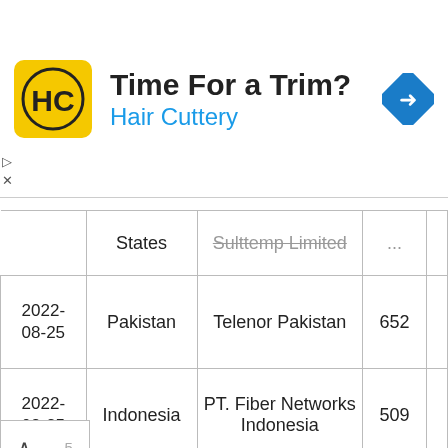[Figure (other): Hair Cuttery advertisement banner with logo, 'Time For a Trim?' text, and navigation icon]
| Date | Country | Operator | Value |  |
| --- | --- | --- | --- | --- |
|  | States | Sulttemp Limited | ... |  |
| 2022-08-25 | Pakistan | Telenor Pakistan | 652 |  |
| 2022-08-25 | Indonesia | PT. Fiber Networks Indonesia | 509 |  |
| 2022-08-25 |  | Point Broadband Fiber Holding | 167 |  |
| 2022-08-25 | Pakistan | Telenor Pakistan | 1239 |  |
| 2022-08-25 | Canada | Bell Canada | 76.5 |  |